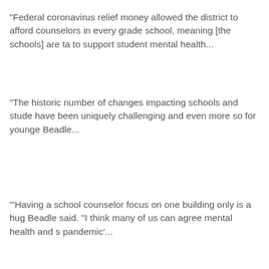“Federal coronavirus relief money allowed the district to afford counselors in every grade school, meaning [the schools] are ta to support student mental health...
“The historic number of changes impacting schools and stude have been uniquely challenging and even more so for younge Beadle...
‘‘Having a school counselor focus on one building only is a hug Beadle said. "I think many of us can agree mental health and s pandemic’...
[Figure (other): Advertisement for Primary Healthcare featuring Dental Care and Behavioral Health services, with blue text on a gray/blue background with silhouettes of people.]